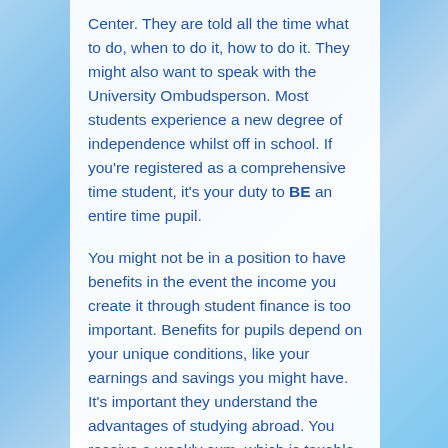Center. They are told all the time what to do, when to do it, how to do it. They might also want to speak with the University Ombudsperson. Most students experience a new degree of independence whilst off in school. If you're registered as a comprehensive time student, it's your duty to BE an entire time pupil.
You might not be in a position to have benefits in the event the income you create it through student finance is too important. Benefits for pupils depend on your unique conditions, like your earnings and savings you might have. It's important they understand the advantages of studying abroad. You receive a weekly sum, which is taxable and might influence your additional advantages. You could also be eligible for disability related advantages. When working